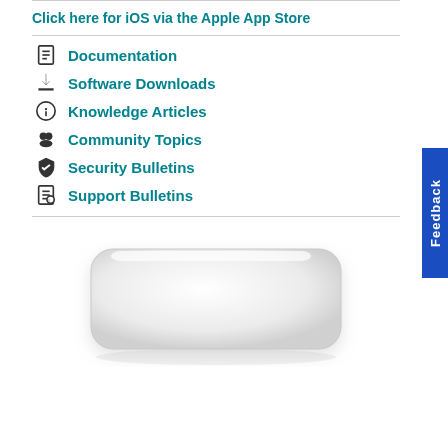Click here for iOS via the Apple App Store
Documentation
Software Downloads
Knowledge Articles
Community Topics
Security Bulletins
Support Bulletins
[Figure (photo): White rectangular hardware device (access point or router) photographed at an angle on white background]